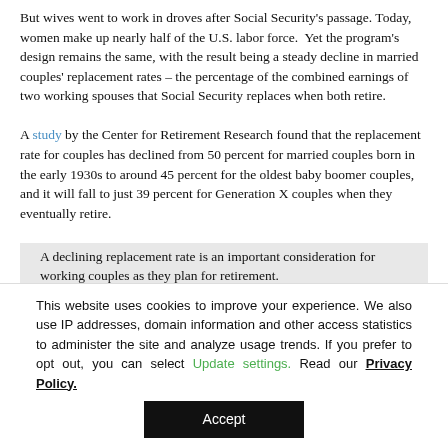But wives went to work in droves after Social Security's passage. Today, women make up nearly half of the U.S. labor force. Yet the program's design remains the same, with the result being a steady decline in married couples' replacement rates – the percentage of the combined earnings of two working spouses that Social Security replaces when both retire.
A study by the Center for Retirement Research found that the replacement rate for couples has declined from 50 percent for married couples born in the early 1930s to around 45 percent for the oldest baby boomer couples, and it will fall to just 39 percent for Generation X couples when they eventually retire.
A declining replacement rate is an important consideration for working couples as they plan for retirement.
This website uses cookies to improve your experience. We also use IP addresses, domain information and other access statistics to administer the site and analyze usage trends. If you prefer to opt out, you can select Update settings. Read our Privacy Policy.